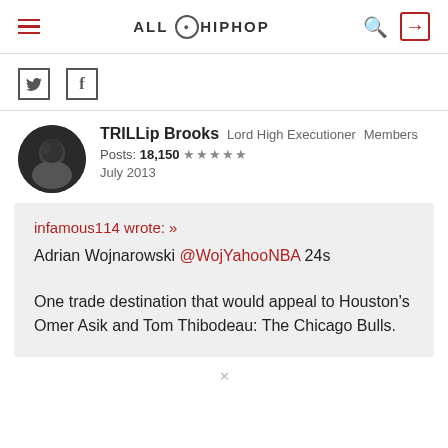ALL HIP HOP
[Figure (logo): AllHipHop website logo with hamburger menu, search icon, and login icon]
[Figure (illustration): Social share icons: Twitter bird and Facebook f]
TRILLip Brooks Lord High Executioner Members Posts: 18,150 ★★★★★ July 2013
infamous114 wrote: » Adrian Wojnarowski @WojYahooNBA 24s

One trade destination that would appeal to Houston's Omer Asik and Tom Thibodeau: The Chicago Bulls.